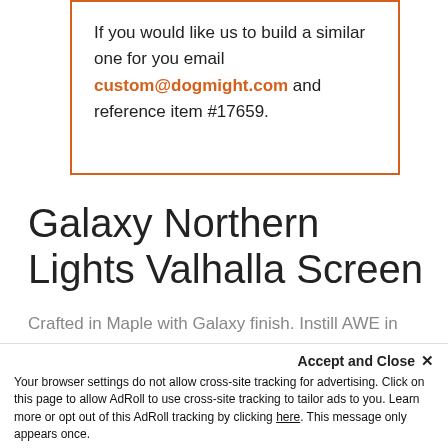If you would like us to build a similar one for you email custom@dogmight.com and reference item #17659.
Galaxy Northern Lights Valhalla Screen
Crafted in Maple with Galaxy finish. Instill AWE in your players by having this amazing centerpiece on your table next session. Features Straight top cut.
Features:
Accept and Close ×
Your browser settings do not allow cross-site tracking for advertising. Click on this page to allow AdRoll to use cross-site tracking to tailor ads to you. Learn more or opt out of this AdRoll tracking by clicking here. This message only appears once.